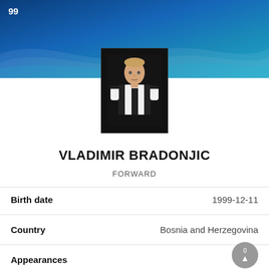99
[Figure (photo): Player photo of Vladimir Bradonjic in black and white striped football kit against dark background]
VLADIMIR BRADONJIC
FORWARD
| Field | Value |
| --- | --- |
| Birth date | 1999-12-11 |
| Country | Bosnia and Herzegovina |
| Appearances | 0 |